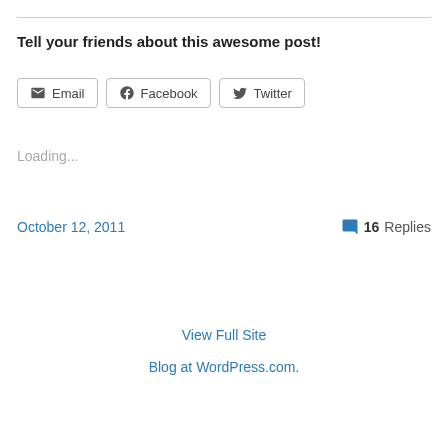Tell your friends about this awesome post!
[Figure (other): Share buttons for Email, Facebook, and Twitter]
Loading...
October 12, 2011
16 Replies
View Full Site
Blog at WordPress.com.